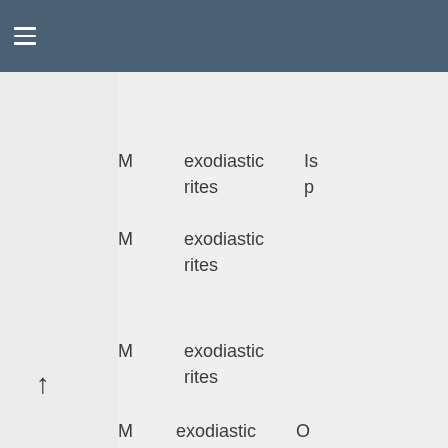≡ (hamburger menu)
|  | M | Name |  |
| --- | --- | --- | --- |
|  | M | exodiastic rites | Is p |
|  | M | exodiastic rites |  |
|  | M | exodiastic rites |  |
|  | M | exodiastic | O |